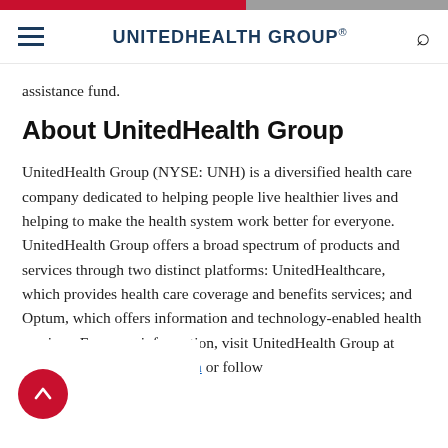UNITEDHEALTH GROUP®
assistance fund.
About UnitedHealth Group
UnitedHealth Group (NYSE: UNH) is a diversified health care company dedicated to helping people live healthier lives and helping to make the health system work better for everyone. UnitedHealth Group offers a broad spectrum of products and services through two distinct platforms: UnitedHealthcare, which provides health care coverage and benefits services; and Optum, which offers information and technology-enabled health services. For more information, visit UnitedHealth Group at www.unitedhealthgroup.com or follow